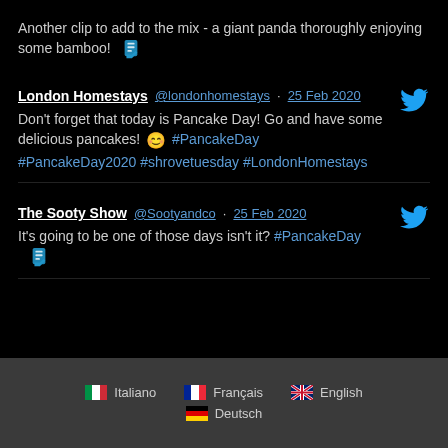Another clip to add to the mix - a giant panda thoroughly enjoying some bamboo! 📎
London Homestays @londonhomestays · 25 Feb 2020
Don't forget that today is Pancake Day! Go and have some delicious pancakes! 😊 #PancakeDay #PancakeDay2020 #shrovetuesday #LondonHomestays
The Sooty Show @Sootyandco · 25 Feb 2020
It's going to be one of those days isn't it? #PancakeDay 📎
Italiano  Français  English  Deutsch